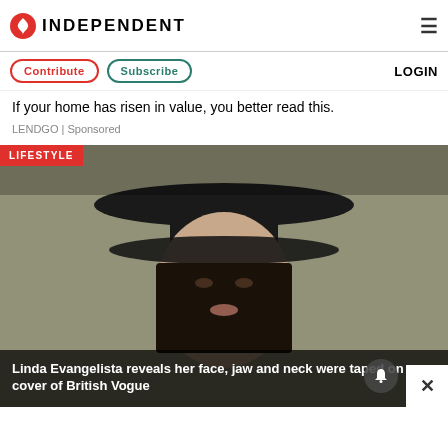INDEPENDENT
Contribute   Subscribe   LOGIN
If your home has risen in value, you better read this.
LENDGO | Sponsored
[Figure (photo): Woman wearing a wide-brim black hat, close-up portrait, with LIFESTYLE badge overlay and article title caption: Linda Evangelista reveals her face, jaw and neck were taped on cover of British Vogue]
Linda Evangelista reveals her face, jaw and neck were taped on cover of British Vogue